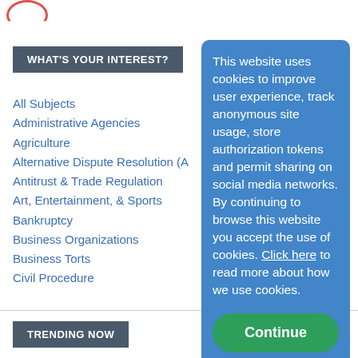[Figure (illustration): Partial red circle at top-left corner]
WHAT'S YOUR INTEREST?
All Subjects
Administrative Agencies
Agriculture
Alternative Dispute Resolution (A
Antitrust & Trade Regulation
Art, Entertainment, & Sports
Bankruptcy
Business Organizations
Business Torts
Civil Procedure
This website uses cookies to improve user experience, track anonymous site usage, store authorization tokens and permit sharing on social media networks. By continuing to browse this website you accept the use of cookies. Click here to read more about how we use cookies.
Continue
TRENDING NOW